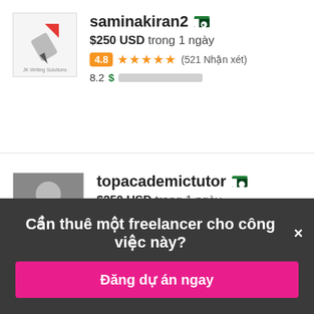[Figure (photo): Avatar logo for saminakiran2: pen/writing logo on white background]
saminakiran2 [Pakistan flag]
$250 USD trong 1 ngày
4.8 ★★★★★ (521 Nhận xét)
8.2 $ [progress bar]
[Figure (photo): Avatar photo for topacademictutor: man photo]
topacademictutor [Pakistan flag]
$250 USD trong 1 ngày
4.8 ★★★★★ (1304 Nhận xét)
Cần thuê một freelancer cho công việc này?×
Đăng dự án ngay